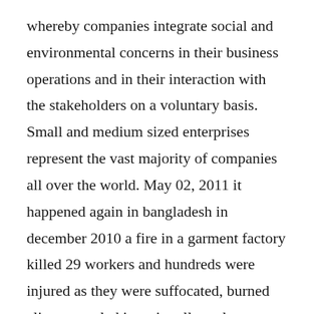whereby companies integrate social and environmental concerns in their business operations and in their interaction with the stakeholders on a voluntary basis. Small and medium sized enterprises represent the vast majority of companies all over the world. May 02, 2011 it happened again in bangladesh in december 2010 a fire in a garment factory killed 29 workers and hundreds were injured as they were suffocated, burned alive, trampled in stairwells, or leapt to their deaths from the 9th and 10th floors because four of